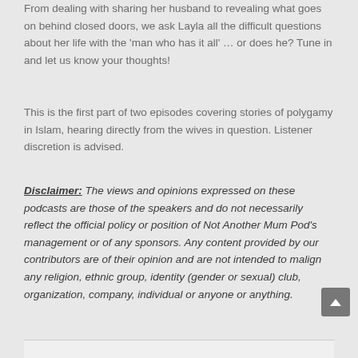From dealing with sharing her husband to revealing what goes on behind closed doors, we ask Layla all the difficult questions about her life with the 'man who has it all' … or does he? Tune in and let us know your thoughts!
This is the first part of two episodes covering stories of polygamy in Islam, hearing directly from the wives in question. Listener discretion is advised.
Disclaimer: The views and opinions expressed on these podcasts are those of the speakers and do not necessarily reflect the official policy or position of Not Another Mum Pod's management or of any sponsors. Any content provided by our contributors are of their opinion and are not intended to malign any religion, ethnic group, identity (gender or sexual) club, organization, company, individual or anyone or anything.